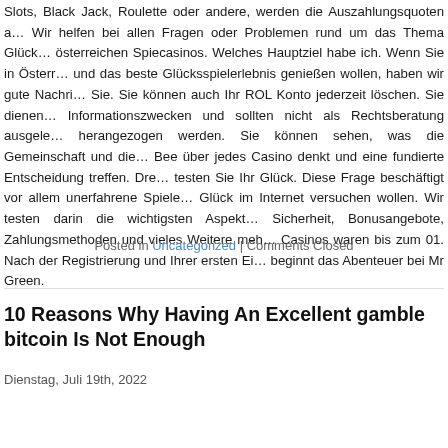Slots, Black Jack, Roulette oder andere, werden die Auszahlungsquoten a… Wir helfen bei allen Fragen oder Problemen rund um das Thema Glück… österreichen Spiecasinos. Welches Hauptziel habe ich. Wenn Sie in Österr… und das beste Glücksspielerlebnis genießen wollen, haben wir gute Nachri… Sie. Sie können auch Ihr ROL Konto jederzeit löschen. Sie dienen… Informationszwecken und sollten nicht als Rechtsberatung ausgele… herangezogen werden. Sie können sehen, was die Gemeinschaft und die… Bee über jedes Casino denkt und eine fundierte Entscheidung treffen. Dre… testen Sie Ihr Glück. Diese Frage beschäftigt vor allem unerfahrene Spiele… Glück im Internet versuchen wollen. Wir testen darin die wichtigsten Aspekt… Sicherheit, Bonusangebote, Zahlungsmethoden und vieles Weitere meh… Casinos waren bis zum 01. Nach der Registrierung und Ihrer ersten Ei… beginnt das Abenteuer bei Mr Green.
Posted in Uncategorized | Comments Closed
10 Reasons Why Having An Excellent gamble bitcoin Is Not Enough
Dienstag, Juli 19th, 2022